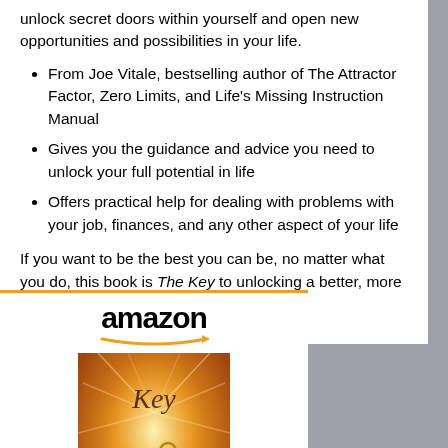unlock secret doors within yourself and open new opportunities and possibilities in your life.
From Joe Vitale, bestselling author of The Attractor Factor, Zero Limits, and Life's Missing Instruction Manual
Gives you the guidance and advice you need to unlock your full potential in life
Offers practical help for dealing with problems with your job, finances, and any other aspect of your life
If you want to be the best you can be, no matter what you do, this book is The Key to unlocking a better, more successful you.
[Figure (other): Amazon product card showing book 'The Key: The Missing Secret...' with Amazon logo, orange arrow, and book cover image (golden light with a key)]
The Key: The Missing Secret...